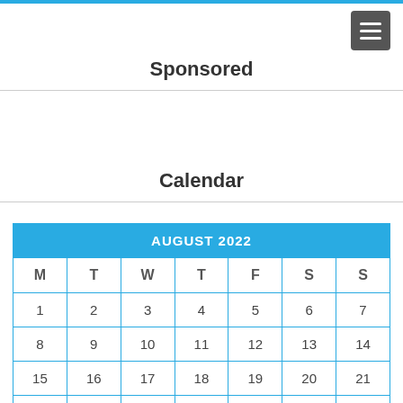Sponsored
Calendar
| M | T | W | T | F | S | S |
| --- | --- | --- | --- | --- | --- | --- |
| 1 | 2 | 3 | 4 | 5 | 6 | 7 |
| 8 | 9 | 10 | 11 | 12 | 13 | 14 |
| 15 | 16 | 17 | 18 | 19 | 20 | 21 |
|  |  |  |  |  |  |  |